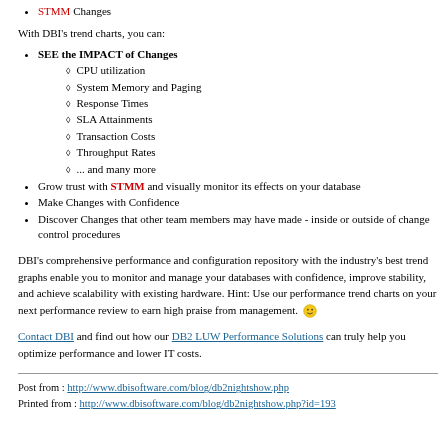STMM Changes
With DBI's trend charts, you can:
SEE the IMPACT of Changes
CPU utilization
System Memory and Paging
Response Times
SLA Attainments
Transaction Costs
Throughput Rates
... and many more
Grow trust with STMM and visually monitor its effects on your database
Make Changes with Confidence
Discover Changes that other team members may have made - inside or outside of change control procedures
DBI's comprehensive performance and configuration repository with the industry's best trend graphs enable you to monitor and manage your databases with confidence, improve stability, and achieve scalability with existing hardware. Hint: Use our performance trend charts on your next performance review to earn high praise from management.
Contact DBI and find out how our DB2 LUW Performance Solutions can truly help you optimize performance and lower IT costs.
Post from : http://www.dbisoftware.com/blog/db2nightshow.php
Printed from : http://www.dbisoftware.com/blog/db2nightshow.php?id=193